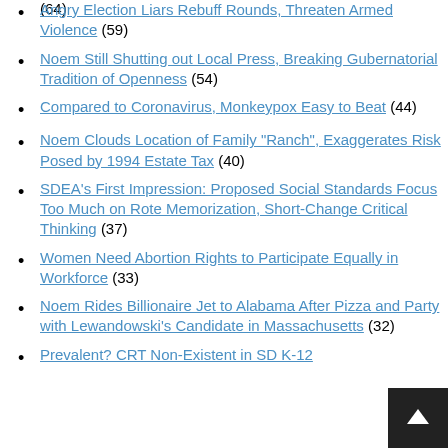(64)
Angry Election Liars Rebuff Rounds, Threaten Armed Violence (59)
Noem Still Shutting out Local Press, Breaking Gubernatorial Tradition of Openness (54)
Compared to Coronavirus, Monkeypox Easy to Beat (44)
Noem Clouds Location of Family "Ranch", Exaggerates Risk Posed by 1994 Estate Tax (40)
SDEA's First Impression: Proposed Social Standards Focus Too Much on Rote Memorization, Short-Change Critical Thinking (37)
Women Need Abortion Rights to Participate Equally in Workforce (33)
Noem Rides Billionaire Jet to Alabama After Pizza and Party with Lewandowski's Candidate in Massachusetts (32)
Prevalent? CRT Non-Existent in SD K-12